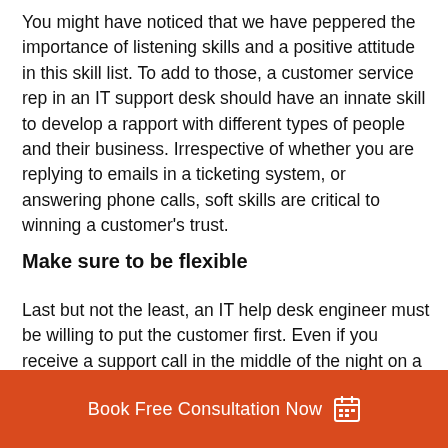You might have noticed that we have peppered the importance of listening skills and a positive attitude in this skill list. To add to those, a customer service rep in an IT support desk should have an innate skill to develop a rapport with different types of people and their business. Irrespective of whether you are replying to emails in a ticketing system, or answering phone calls, soft skills are critical to winning a customer's trust.
Make sure to be flexible
Last but not the least, an IT help desk engineer must be willing to put the customer first. Even if you receive a support call in the middle of the night on a weekend, be ready to put on your Superman suit and get the job done. That's because yo... yourself in the customer's shoes and realise that they